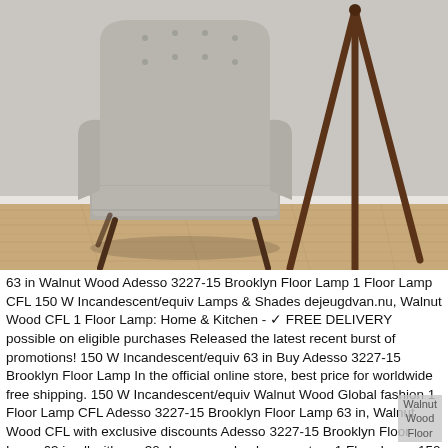[Figure (photo): A mid-century modern light grey tufted high-back accent chair with dark walnut wooden legs, sitting on light hardwood flooring in front of a light grey wall with white baseboard. To the right is a dark walnut tripod floor lamp base.]
63 in Walnut Wood Adesso 3227-15 Brooklyn Floor Lamp 1 Floor Lamp CFL 150 W Incandescent/equiv Lamps & Shades dejeugdvan.nu, Walnut Wood CFL 1 Floor Lamp: Home & Kitchen - ✓ FREE DELIVERY possible on eligible purchases Released the latest recent burst of promotions! 150 W Incandescent/equiv 63 in Buy Adesso 3227-15 Brooklyn Floor Lamp In the official online store, best price for worldwide free shipping. 150 W Incandescent/equiv Walnut Wood Global fashion 1 Floor Lamp CFL Adesso 3227-15 Brooklyn Floor Lamp 63 in, Walnut Wood CFL with exclusive discounts Adesso 3227-15 Brooklyn Floor Lamp 63 in all with our 30-day money back guarantee. 1 Floor Lamp 150 W Incandescent/equiv